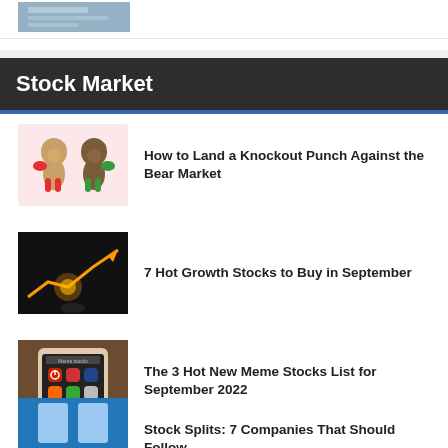[Figure (photo): Partial thumbnail image of hands reviewing documents, top left corner]
Stock Market
[Figure (illustration): Two cartoon bears boxing, one in red trunks and one in green trunks, on pink background]
How to Land a Knockout Punch Against the Bear Market
[Figure (photo): Dark background with glowing orange arrow pointing upward and to the right, businessman silhouette]
7 Hot Growth Stocks to Buy in September
[Figure (screenshot): Phone screen showing app icons with 'Meme stocks' label at top]
The 3 Hot New Meme Stocks List for September 2022
[Figure (photo): Blue background with hands holding items, stock splits article thumbnail]
Stock Splits: 7 Companies That Should Follow Tesla's Lead